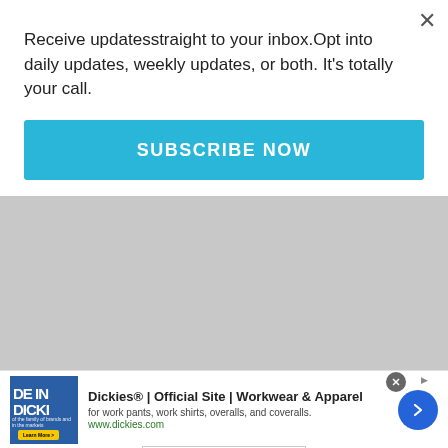Receive updatesstraight to your inbox.Opt into daily updates, weekly updates, or both. It's totally your call.
[Figure (other): Subscribe Now button — teal/cyan background with white uppercase text SUBSCRIBE NOW]
[Figure (other): Advertisement banner: Available at Publix | SAVE NOW button (green). Disclaimer: Use products as directed. ©2022 Haleon group of companies or its licensors.]
[Figure (other): Bottom advertisement for Dickies: Dickies® | Official Site | Workwear & Apparel. for work pants, work shirts, overalls, and coveralls. www.dickies.com. Blue circular arrow button on right.]